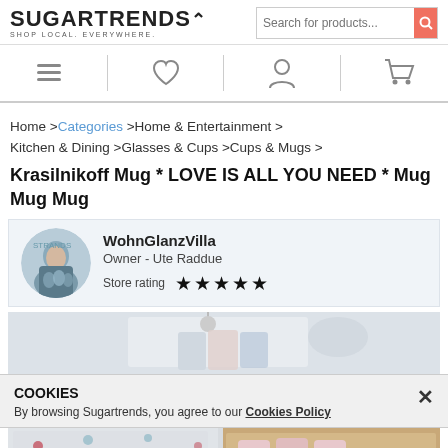SUGARTRENDS. SHOP LOCAL. EVERYWHERE.
[Figure (screenshot): Navigation icons: hamburger menu, heart/wishlist, user account, shopping cart]
Home >Categories >Home & Entertainment > Kitchen & Dining >Glasses & Cups >Cups & Mugs >
Krasilnikoff Mug * LOVE IS ALL YOU NEED * Mug Mug Mug
[Figure (photo): Store owner avatar photo - WohnGlanzVilla]
WohnGlanzVilla
Owner - Ute Raddue
Store rating ★★★★★
[Figure (photo): Product image showing kitchen textiles hanging on hooks]
COOKIES
By browsing Sugartrends, you agree to our Cookies Policy
[Figure (photo): Product image showing star-patterned textiles and pink mugs in a wooden shelf]